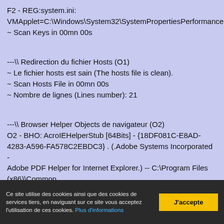F2 - REG:system.ini: VMApplet=C:\Windows\System32\SystemPropertiesPerformance.ex
~ Scan Keys in 00mn 00s
---\\ Redirection du fichier Hosts (O1)
~ Le fichier hosts est sain (The hosts file is clean).
~ Scan Hosts File in 00mn 00s
~ Nombre de lignes (Lines number): 21
---\\ Browser Helper Objects de navigateur (O2)
O2 - BHO: AcroIEHelperStub [64Bits] - {18DF081C-E8AD-4283-A596-FA578C2EBDC3} . (.Adobe Systems Incorporated - Adobe PDF Helper for Internet Explorer.) -- C:\Program Files (x86)\Common Files\Adobe\Acrobat\ActiveX\AcroIEHelperShim.dll
Ce site utilise des cookies ainsi que des cookies de services tiers, en naviguant sur ce site vous acceptez l'utilisation de ces cookies. Plus d'informations